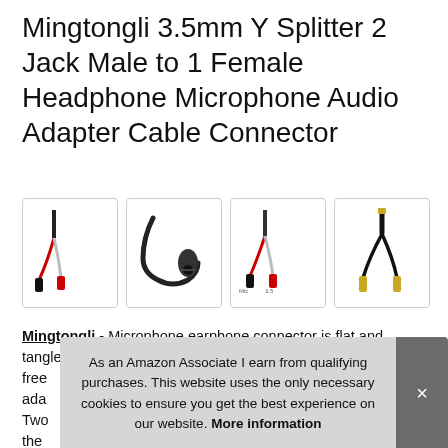Mingtongli 3.5mm Y Splitter 2 Jack Male to 1 Female Headphone Microphone Audio Adapter Cable Connector
[Figure (photo): Four product images of 3.5mm Y-splitter audio adapter cables in bordered boxes: image 1 shows a white/red cable splitter, image 2 shows a black female 3.5mm jack end, image 3 shows another white/red cable splitter with labels, image 4 shows a black Y-splitter cable.]
Mingtongli - Microphone earphone connector is flat and tangle free ada Two the
As an Amazon Associate I earn from qualifying purchases. This website uses the only necessary cookies to ensure you get the best experience on our website. More information